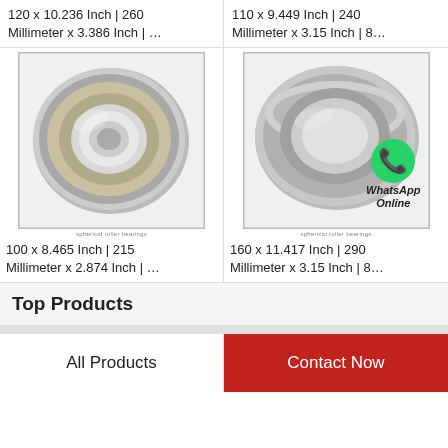120 x 10.236 Inch | 260 Millimeter x 3.386 Inch | …
110 x 9.449 Inch | 240 Millimeter x 3.15 Inch | 8…
[Figure (photo): Spherical roller bearing product image, left side]
[Figure (photo): Spherical roller bearing product image with WhatsApp Online overlay, right side]
100 x 8.465 Inch | 215 Millimeter x 2.874 Inch | …
160 x 11.417 Inch | 290 Millimeter x 3.15 Inch | 8…
Top Products
All Products | Contact Now